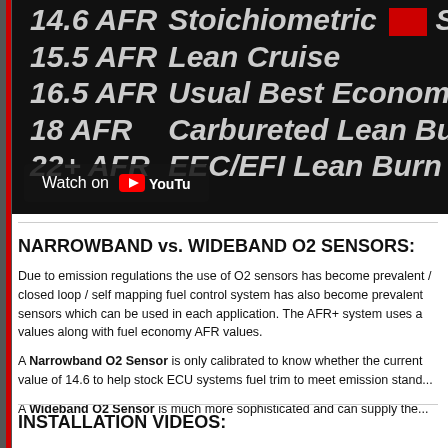[Figure (screenshot): Dark background video thumbnail showing AFR (Air/Fuel Ratio) values list: 14.6 AFR Stoichiometric, 15.5 AFR Lean Cruise, 16.5 AFR Usual Best Economy, 18 AFR Carbureted Lean Burn Limit, 22+ AFR EEC/EFI Lean Burn Limit, with a YouTube watch button at the bottom.]
NARROWBAND vs. WIDEBAND O2 SENSORS:
Due to emission regulations the use of O2 sensors has become prevalent / closed loop / self mapping fuel control system has also become prevalent sensors which can be used in each application. The AFR+ system uses a values along with fuel economy AFR values.
A Narrowband O2 Sensor is only calibrated to know whether the current value of 14.6 to help stock ECU systems fuel trim to meet emission stand...
A Wideband O2 Sensor is much more sophisticated and can supply the...
INSTALLATION VIDEOS: